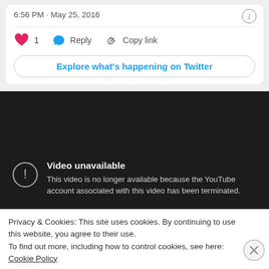6:56 PM · May 25, 2016
❤ 1   Reply   Copy link
Explore what's happening on Twitter
[Figure (screenshot): YouTube video unavailable screen: dark background with error icon and text 'Video unavailable. This video is no longer available because the YouTube account associated with this video has been terminated.']
Privacy & Cookies: This site uses cookies. By continuing to use this website, you agree to their use. To find out more, including how to control cookies, see here: Cookie Policy
Close and accept